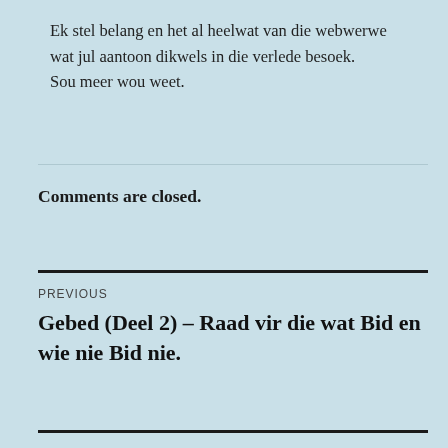Ek stel belang en het al heelwat van die webwerwe wat jul aantoon dikwels in die verlede besoek.
Sou meer wou weet.
Comments are closed.
PREVIOUS
Gebed (Deel 2) – Raad vir die wat Bid en wie nie Bid nie.